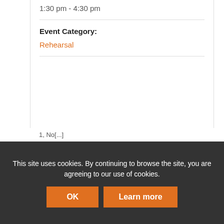1:30 pm - 4:30 pm
Event Category:
Rehearsal
This site uses cookies. By continuing to browse the site, you are agreeing to our use of cookies.
OK
Learn more